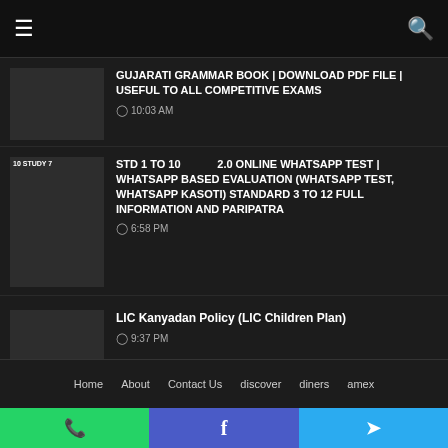Navigation bar with hamburger menu and search icon
GUJARATI GRAMMAR BOOK | DOWNLOAD PDF FILE | USEFUL TO ALL COMPETITIVE EXAMS
10:03 AM
STD 1 TO 10  2.0 ONLINE WHATSAPP TEST | WHATSAPP BASED EVALUATION (WHATSAPP TEST, WHATSAPP KASOTI) STANDARD 3 TO 12 FULL INFORMATION AND PARIPATRA
6:58 PM
LIC Kanyadan Policy (LIC Children Plan)
9:37 PM
Home  About  Contact Us  discover  diners  amex
WhatsApp  Facebook  Telegram social share buttons